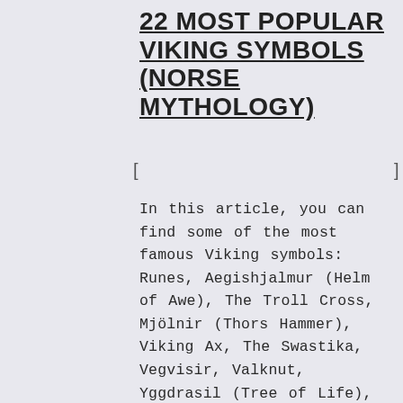22 MOST POPULAR VIKING SYMBOLS (NORSE MYTHOLOGY)
In this article, you can find some of the most famous Viking symbols: Runes, Aegishjalmur (Helm of Awe), The Troll Cross, Mjölnir (Thors Hammer), Viking Ax, The Swastika, Vegvisir, Valknut, Yggdrasil (Tree of Life), Triquetra, The Horn Triskelion, Huginn and Muninn, Svefnthorn, Gungnir (Odin's Spear), The Web of Wyrd, Longship, 8-Legged Horse, Dragons, Cats, Bears, ...